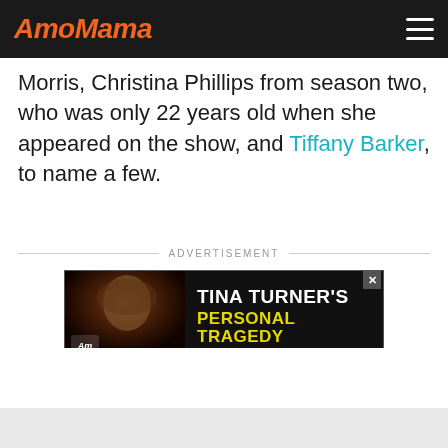AmoMama
Morris, Christina Phillips from season two, who was only 22 years old when she appeared on the show, and Tiffany Barker, to name a few.
ADVERTISEMENT
[Figure (infographic): Advertisement banner for AmoMama article about Tina Turner's Personal Tragedy, with photo of Tina Turner on left and text on dark background on right]